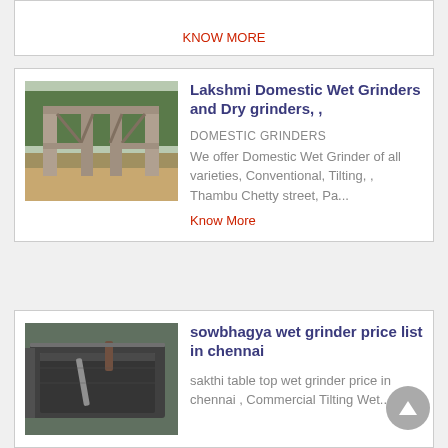[Figure (photo): Partial card top border visible at top of page]
[Figure (photo): Construction site with concrete pillars and wooden framework structure outdoors]
Lakshmi Domestic Wet Grinders and Dry grinders, ,
DOMESTIC GRINDERS
We offer Domestic Wet Grinder of all varieties, Conventional, Tilting, , Thambu Chetty street, Pa...
Know More
[Figure (photo): Close-up of a metal wet grinder basin/trough]
sowbhagya wet grinder price list in chennai
sakthi table top wet grinder price in chennai , Commercial Tilting Wet...